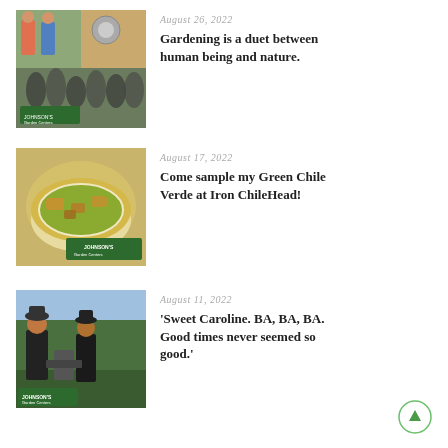[Figure (photo): Collage of people at Johnson's Garden Centers event, outdoor garden center setting]
August 26, 2022
Gardening is a duet between human being and nature.
[Figure (photo): Bowl of green chile verde soup with chunks of meat, Johnson's Garden Centers logo overlay]
August 17, 2022
Come sample my Green Chile Verde at Iron ChileHead!
[Figure (photo): Two people at outdoor cooking event, Johnson's Garden Centers logo overlay]
August 11, 2022
'Sweet Caroline. BA, BA, BA. Good times never seemed so good.'